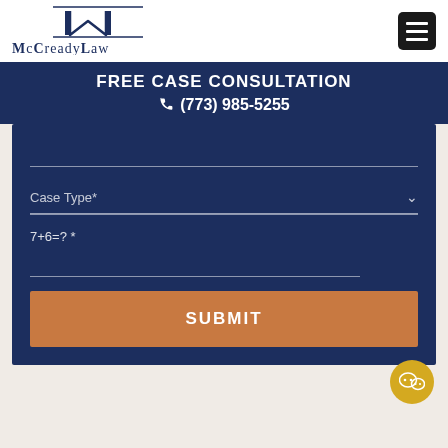[Figure (logo): McCreadyLaw logo with stylized M monogram above horizontal lines and firm name]
[Figure (other): Hamburger menu icon, dark square with three white horizontal bars]
FREE CASE CONSULTATION
(773) 985-5255
Case Type*
7+6=? *
SUBMIT